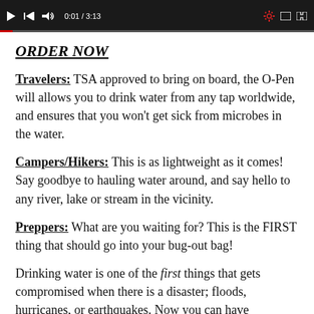[Figure (screenshot): YouTube-style video player toolbar showing play button, skip button, volume icon, time display '0:01 / 3:13', and right-side controls including settings gear, rectangle, and fullscreen icons. A thin progress bar is at the bottom of the bar.]
ORDER NOW
Travelers:  TSA approved to bring on board, the O-Pen will allows you to drink water from any tap worldwide, and ensures that you won't get sick from microbes in the water.
Campers/Hikers: This is as lightweight as it comes! Say goodbye to hauling water around, and say hello to any river, lake or stream in the vicinity.
Preppers:  What are you waiting for? This is the FIRST thing that should go into your bug-out bag!
Drinking water is one of the first things that gets compromised when there is a disaster; floods, hurricanes, or earthquakes. Now you can have